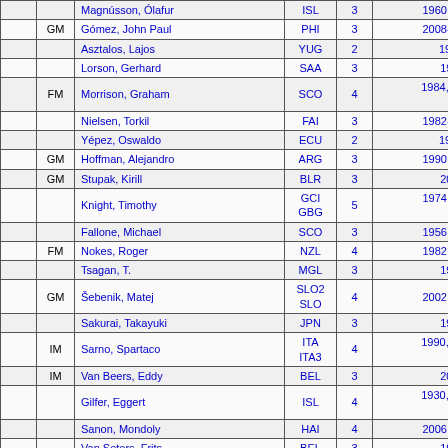|  | Title | Name | Fed | Ol | Years |
| --- | --- | --- | --- | --- | --- |
|  |  | Magnússon, Ólafur | ISL | 3 | 1960, 1970-197… |
|  | GM | Gómez, John Paul | PHI | 3 | 2008-2010, 201… |
|  |  | Asztalos, Lajos | YUG | 2 | 1927, 1931 |
|  |  | Lorson, Gerhard | SAA | 3 | 1952-1956 |
|  | FM | Morrison, Graham | SCO | 4 | 1984, 1988, 201… 2012 |
|  |  | Nielsen, Torkil | FAI | 3 | 1982-1984, 198… |
|  |  | Yépez, Oswaldo | ECU | 2 | 1960, 1966 |
|  | GM | Hoffman, Alejandro | ARG | 3 | 1990, 1998-200… |
|  | GM | Stupak, Kirill | BLR | 3 | 2010-2014 |
|  |  | Knight, Timothy | GCI GBG | 5 | 1974, 1980-198… 2012 |
|  |  | Fallone, Michael | SCO | 3 | 1956, 1964-196… |
|  | FM | Nokes, Roger | NZL | 4 | 1982, 2004-200… |
|  |  | Tsagan, T. | MGL | 3 | 1962-1966 |
|  | GM | Šebenik, Matej | SLO2 SLO | 4 | 2002, 2010-201… |
|  |  | Sakurai, Takayuki | JPN | 3 | 1976-1980 |
|  | IM | Sarno, Spartaco | ITA ITA3 | 4 | 1990, 1996, 200… 2006 |
|  | IM | Van Beers, Eddy | BEL | 3 | 2000-2004 |
|  |  | Gilfer, Eggert | ISL | 4 | 1930, 1933, 193… 1952 |
|  |  | Sanon, Mondoly | HAI | 4 | 2006, 2010-201… |
|  |  | Van Seters, Frits | BEL | 3 | 1972-1976 |
|  |  | Taha, Abdul-Razzaq Ahmed | IRQ | 3 | 1972-1974, 198… |
|  | FM | Bammoune, Abd'Ennacer | ALG | 4 | 1982-1986, 199… |
|  | FM | Sánchez, Jorge | PAN | 4 | 2004-2006, 201… 2014 |
|  |  |  |  |  | 2002, 2006-201… |